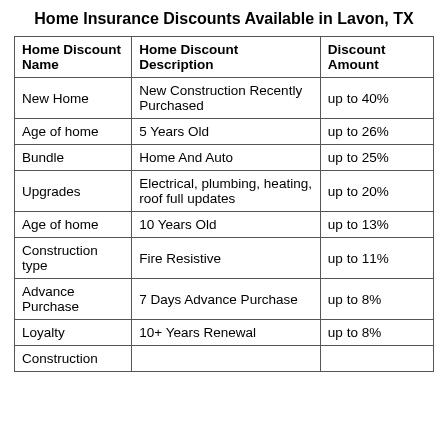Home Insurance Discounts Available in Lavon, TX
| Home Discount Name | Home Discount Description | Discount Amount |
| --- | --- | --- |
| New Home | New Construction Recently Purchased | up to 40% |
| Age of home | 5 Years Old | up to 26% |
| Bundle | Home And Auto | up to 25% |
| Upgrades | Electrical, plumbing, heating, roof full updates | up to 20% |
| Age of home | 10 Years Old | up to 13% |
| Construction type | Fire Resistive | up to 11% |
| Advance Purchase | 7 Days Advance Purchase | up to 8% |
| Loyalty | 10+ Years Renewal | up to 8% |
| Construction |  |  |